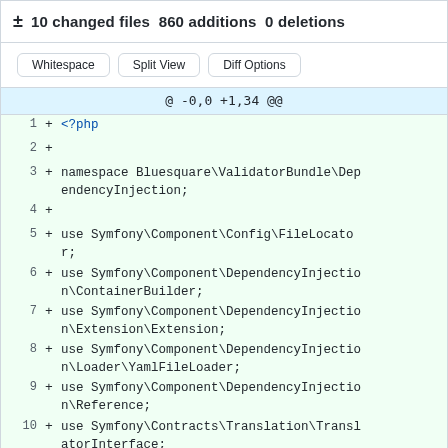± 10 changed files  860 additions  0 deletions
Whitespace  Split View  Diff Options
@ -0,0 +1,34 @@
1  +  <?php
2  +
3  +  namespace Bluesquare\ValidatorBundle\DependencyInjection;
4  +
5  +  use Symfony\Component\Config\FileLocator;
6  +  use Symfony\Component\DependencyInjection\ContainerBuilder;
7  +  use Symfony\Component\DependencyInjection\Extension\Extension;
8  +  use Symfony\Component\DependencyInjection\Loader\YamlFileLoader;
9  +  use Symfony\Component\DependencyInjection\Reference;
10 +  use Symfony\Contracts\Translation\TranslatorInterface;